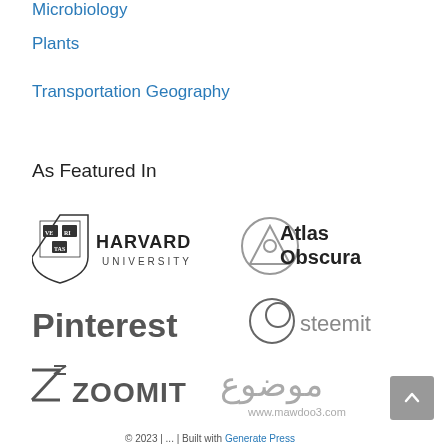Microbiology
Plants
Transportation Geography
As Featured In
[Figure (logo): Harvard University logo and Atlas Obscura logo side by side]
[Figure (logo): Pinterest logo and Steemit logo side by side]
[Figure (logo): Zoomit logo and Mawdoo3 (موضوع) logo with www.mawdoo3.com]
© 2023 | ... | Built with Generate Press